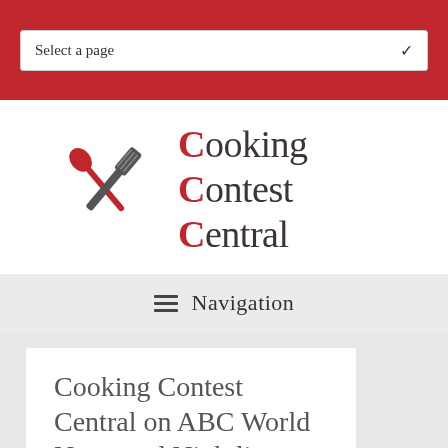Select a page
[Figure (logo): Cooking Contest Central logo with crossed spatula and spoon icons in red and dark gray, and text 'Cooking Contest Central' with red C letters]
Navigation
Cooking Contest Central on ABC World News and Nightline